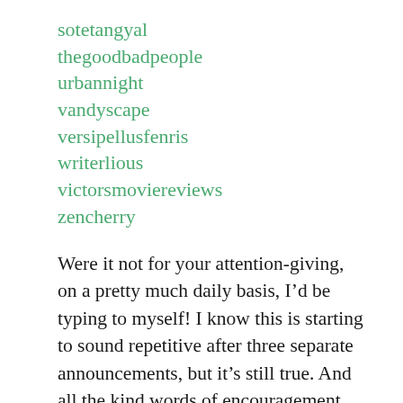sotetangyal
thegoodbadpeople
urbannight
vandyscape
versipellusfenris
writerlious
victorsmoviereviews
zencherry
Were it not for your attention-giving, on a pretty much daily basis, I’d be typing to myself! I know this is starting to sound repetitive after three separate announcements, but it’s still true. And all the kind words of encouragement, suggestions and constructive criticism have been extremely helpful and encouraging. While I am still not as accomplished as I would like to be, stuff like this makes me think like it’s truly possible.